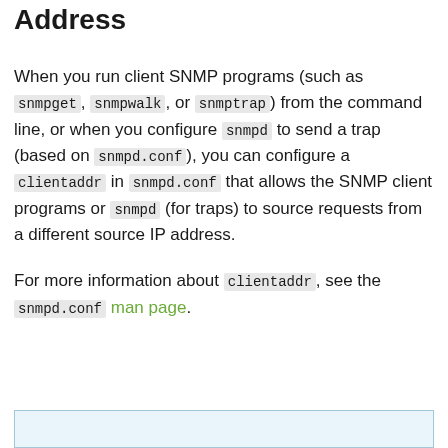Address
When you run client SNMP programs (such as snmpget, snmpwalk, or snmptrap) from the command line, or when you configure snmpd to send a trap (based on snmpd.conf), you can configure a clientaddr in snmpd.conf that allows the SNMP client programs or snmpd (for traps) to source requests from a different source IP address.
For more information about clientaddr, see the snmpd.conf man page.
[Figure (other): Blue-bordered box at the bottom of the page, partially visible]